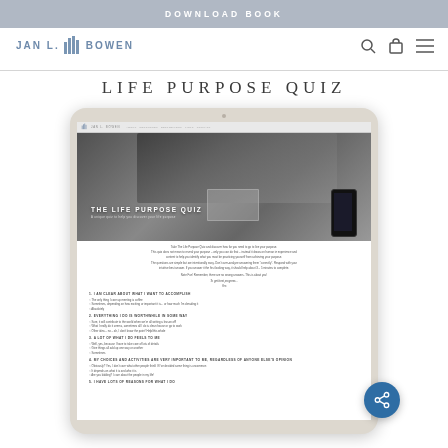DOWNLOAD BOOK
[Figure (logo): JAN L. BOWEN logo with building icon and navigation icons (search, bag, hamburger menu)]
LIFE PURPOSE QUIZ
[Figure (screenshot): Tablet device showing the Jan L. Bowen website with The Life Purpose Quiz page. The tablet displays a hero image of a laptop and phone on a desk, overlaid with the text 'THE LIFE PURPOSE QUIZ'. Below is quiz content with introductory text and multiple choice questions including: 1. I AM CLEAR ABOUT WHAT I WANT TO ACCOMPLISH, 2. EVERYTHING I DO IS WORTHWHILE IN SOME WAY, 3. I HAVE A LOT OF WHAT I DO FEELS TO ME, 4. MY CHOICES AND ACTIVITIES ARE VERY IMPORTANT TO ME REGARDLESS OF ANYONE ELSE'S OPINION, 5. I HAVE LOTS OF REASONS FOR WHAT I DO. Each question has multiple choice radio button options. A blue circular share button appears in the lower right of the tablet.]